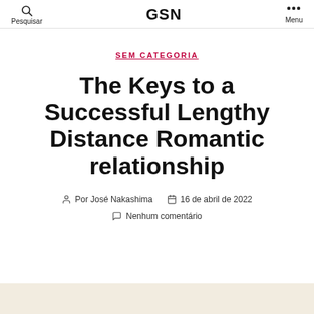Pesquisar | GSN | Menu
SEM CATEGORIA
The Keys to a Successful Lengthy Distance Romantic relationship
Por José Nakashima   16 de abril de 2022
Nenhum comentário